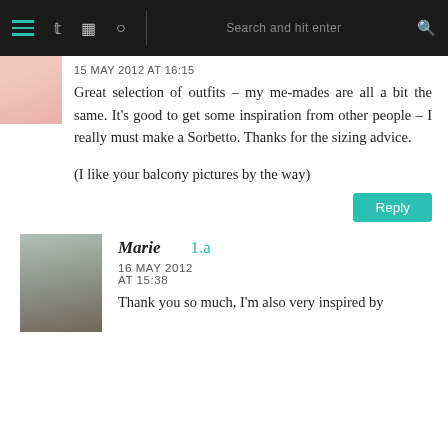Navigation bar with hamburger menu, Twitter, Instagram, Pinterest icons, search bar
[Figure (photo): Small avatar photo of a person, partially visible, pink/skin tones]
15 MAY 2012 AT 16:15
Great selection of outfits – my me-mades are all a bit the same. It's good to get some inspiration from other people – I really must make a Sorbetto. Thanks for the sizing advice.

(I like your balcony pictures by the way)
Reply
[Figure (photo): Avatar photo of Marie, woman with short dark hair]
Marie 1.a
16 MAY 2012
AT 15:38
Thank you so much, I'm also very inspired by